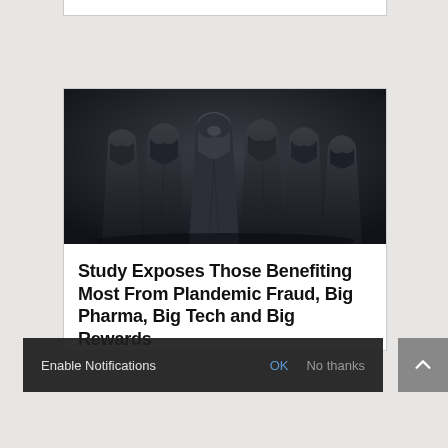[Figure (photo): Group of hooded dark-robed figures standing together against a dark background, photographed from front/side angle, dramatic low-key lighting.]
Study Exposes Those Benefiting Most From Plandemic Fraud, Big Pharma, Big Tech and Big Rewards
Enable Notifications   OK   No thanks